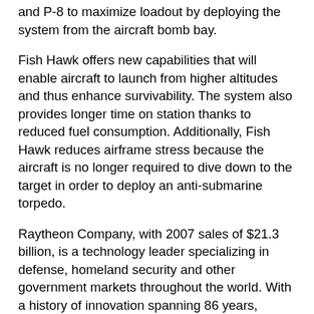and P-8 to maximize loadout by deploying the system from the aircraft bomb bay.
Fish Hawk offers new capabilities that will enable aircraft to launch from higher altitudes and thus enhance survivability. The system also provides longer time on station thanks to reduced fuel consumption. Additionally, Fish Hawk reduces airframe stress because the aircraft is no longer required to dive down to the target in order to deploy an anti-submarine torpedo.
Raytheon Company, with 2007 sales of $21.3 billion, is a technology leader specializing in defense, homeland security and other government markets throughout the world. With a history of innovation spanning 86 years, Raytheon provides state-of-the-art electronics, mission systems integration and other capabilities in the areas of sensing; effects; and command, control, communications